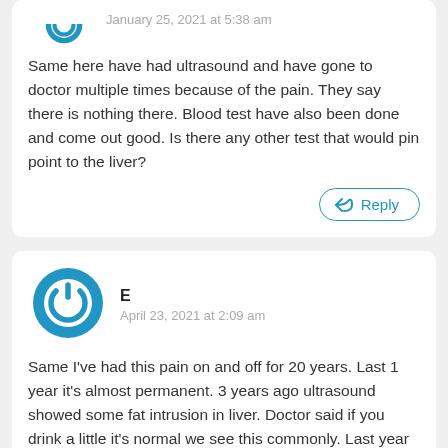[Figure (illustration): Blue circular avatar icon (partial, top of page) for first commenter]
January 25, 2021 at 5:38 am
Same here have had ultrasound and have gone to doctor multiple times because of the pain. They say there is nothing there. Blood test have also been done and come out good. Is there any other test that would pin point to the liver?
[Figure (illustration): Blue circular power-button style avatar icon for user E]
E
April 23, 2021 at 2:09 am
Same I've had this pain on and off for 20 years. Last 1 year it's almost permanent. 3 years ago ultrasound showed some fat intrusion in liver. Doctor said if you drink a little it's normal we see this commonly. Last year when it felt like the pain wouldn't go away the